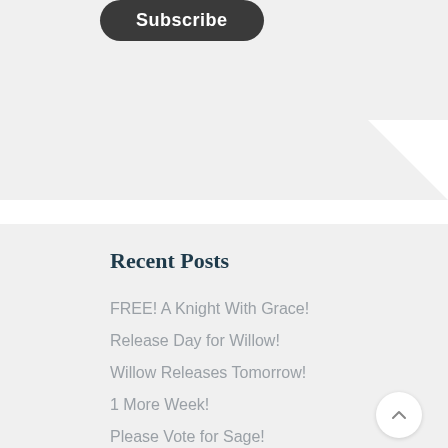[Figure (other): Subscribe button (dark rounded rectangle) partially visible at the top of the page, with a decorative white triangle in the upper right corner]
Recent Posts
FREE! A Knight With Grace!
Release Day for Willow!
Willow Releases Tomorrow!
1 More Week!
Please Vote for Sage!